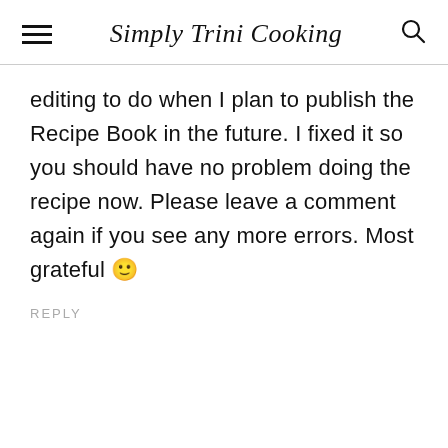Simply Trini Cooking
editing to do when I plan to publish the Recipe Book in the future. I fixed it so you should have no problem doing the recipe now. Please leave a comment again if you see any more errors. Most grateful 🙂
REPLY